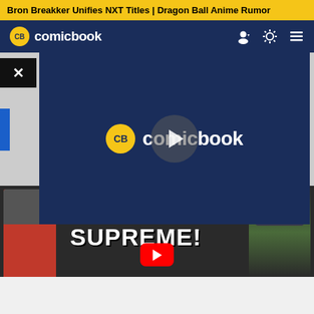Bron Breakker Unifies NXT Titles | Dragon Ball Anime Rumor
[Figure (logo): ComicBook.com navigation bar with CB logo, site name, user icon, theme toggle, and hamburger menu on dark blue background]
[Figure (screenshot): Video player overlay showing ComicBook.com logo with play button circle in center, on dark navy background, with close button top left]
[Figure (screenshot): Thumbnail strip showing two people (red shirt left, green figure right) with STOCKER SUPREME text and YouTube play button in middle]